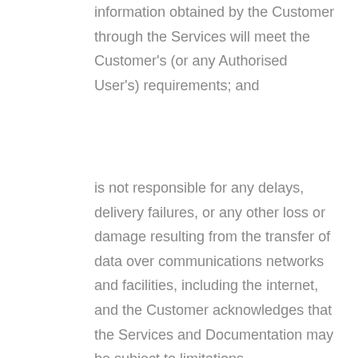information obtained by the Customer through the Services will meet the Customer's (or any Authorised User's) requirements; and
is not responsible for any delays, delivery failures, or any other loss or damage resulting from the transfer of data over communications networks and facilities, including the internet, and the Customer acknowledges that the Services and Documentation may be subject to limitations,